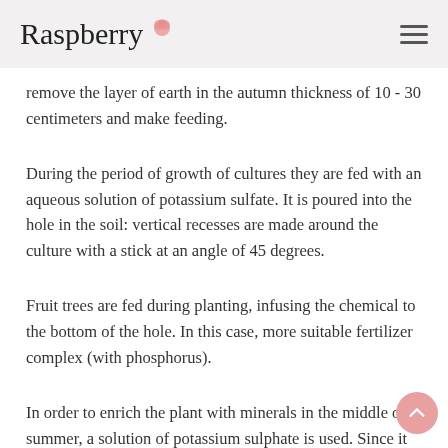Raspberry
remove the layer of earth in the autumn thickness of 10 - 30 centimeters and make feeding.
During the period of growth of cultures they are fed with an aqueous solution of potassium sulfate. It is poured into the hole in the soil: vertical recesses are made around the culture with a stick at an angle of 45 degrees.
Fruit trees are fed during planting, infusing the chemical to the bottom of the hole. In this case, more suitable fertilizer complex (with phosphorus).
In order to enrich the plant with minerals in the middle of summer, a solution of potassium sulphate is used. Since it is easier to penetrate